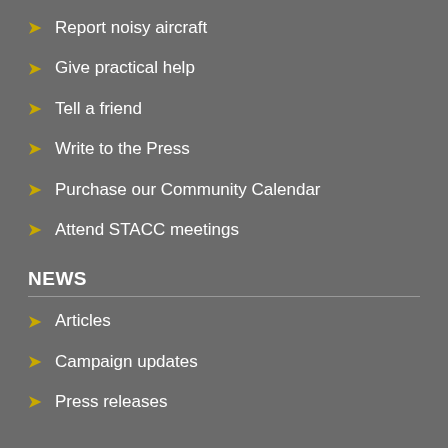Report noisy aircraft
Give practical help
Tell a friend
Write to the Press
Purchase our Community Calendar
Attend STACC meetings
NEWS
Articles
Campaign updates
Press releases
EVENTS
Events
LIBRARY